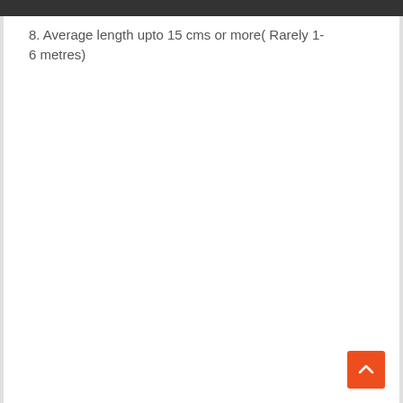8. Average length upto 15 cms or more(Rarely 1-6 metres)